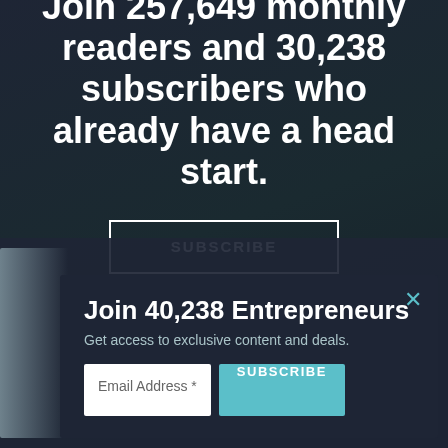Join 257,649 monthly readers and 30,238 subscribers who already have a head start.
SUBSCRIBE
Join 40,238 Entrepreneurs
Get access to exclusive content and deals.
Email Address *
SUBSCRIBE